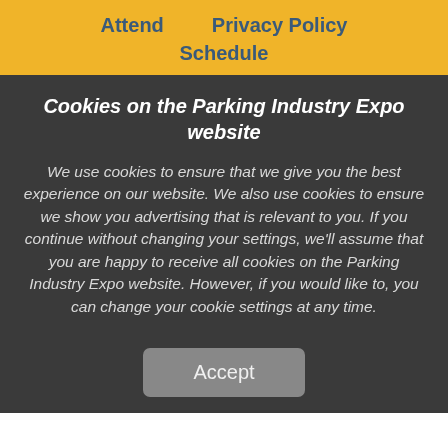Attend   Privacy Policy   Schedule
Cookies on the Parking Industry Expo website
We use cookies to ensure that we give you the best experience on our website. We also use cookies to ensure we show you advertising that is relevant to you. If you continue without changing your settings, we'll assume that you are happy to receive all cookies on the Parking Industry Expo website. However, if you would like to, you can change your cookie settings at any time.
Accept